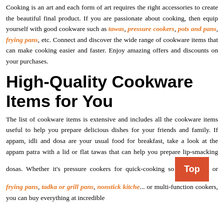Cooking is an art and each form of art requires the right accessories to create the beautiful final product. If you are passionate about cooking, then equip yourself with good cookware such as tawas, pressure cookers, pots and pans, frying pans, etc. Connect and discover the wide range of cookware items that can make cooking easier and faster. Enjoy amazing offers and discounts on your purchases.
High-Quality Cookware Items for You
The list of cookware items is extensive and includes all the cookware items useful to help you prepare delicious dishes for your friends and family. If appam, idli and dosa are your usual food for breakfast, take a look at the appam patra with a lid or flat tawas that can help you prepare lip-smacking dosas. Whether it's pressure cookers for quick-cooking so... or frying pans, tadka or grill pans, nonstick kitchens... or multi-function cookers, you can buy everything at incredible...